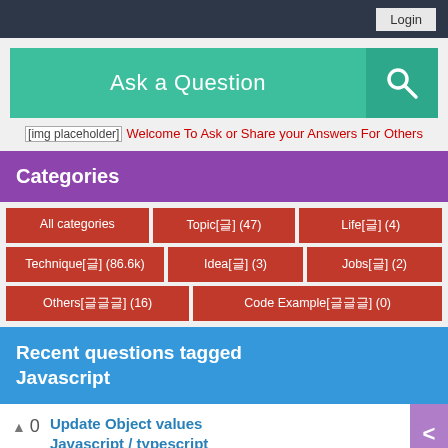Login
Ask a Question
[Figure (screenshot): Broken image placeholder followed by text: Welcome To Ask or Share your Answers For Others]
Categories
All categories
Topic[글] (47)
Life[글] (4)
Technique[글] (86.6k)
Idea[글] (3)
Jobs[글] (2)
Others[글글글] (16)
Code Example[글글글] (0)
Recent questions tagged Javascript
0  Update Object values Javascript / typescript